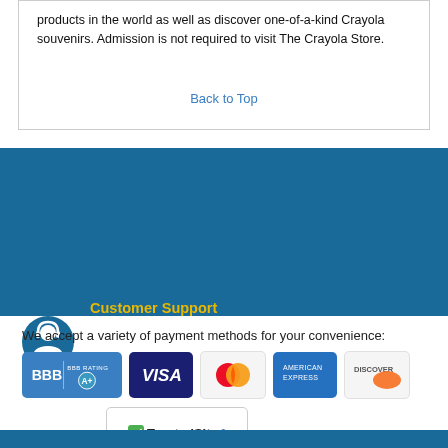products in the world as well as discover one-of-a-kind Crayola souvenirs. Admission is not required to visit The Crayola Store.
Back to Top
Customer Support
Contact us for support or help booking your trip at 1-800-590-8125.
We accept a variety of payment methods for your convenience:
[Figure (logo): BBB Rating A+ badge, Visa logo, Mastercard logo, American Express logo, Discover logo, TrustedSite Certified Secure badge]